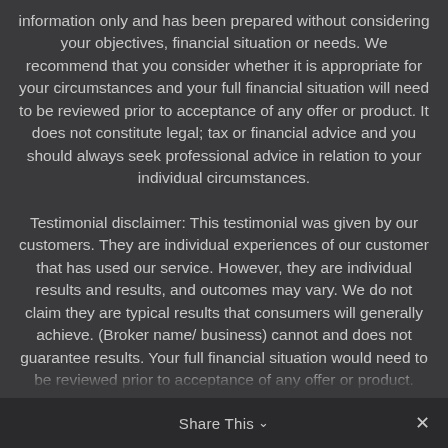information only and has been prepared without considering your objectives, financial situation or needs. We recommend that you consider whether it is appropriate for your circumstances and your full financial situation will need to be reviewed prior to acceptance of any offer or product. It does not constitute legal; tax or financial advice and you should always seek professional advice in relation to your individual circumstances.
Testimonial disclaimer: This testimonial was given by our customers. They are individual experiences of our customer that has used our service. However, they are individual results and results, and outcomes may vary. We do not claim they are typical results that consumers will generally achieve. (Broker name/ business) cannot and does not guarantee results. Your full financial situation would need to be reviewed prior to acceptance of any offer or product.
Share This ∨  ✕